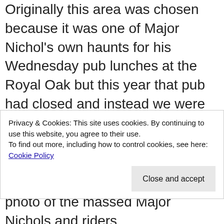Originally this area was chosen because it was one of Major Nichol's own haunts for his Wednesday pub lunches at the Royal Oak but this year that pub had closed and instead we were most happily looked after for lunch by the Red Lion at Bobbington.  A splendid turnout of some 26 riders took to their wheels on a day forecast to be warming during the day but which in fact had a cool brisk wind much of the time – until we got back when the
Privacy & Cookies: This site uses cookies. By continuing to use this website, you agree to their use.
To find out more, including how to control cookies, see here: Cookie Policy
photo of the massed Major Nichols and riders